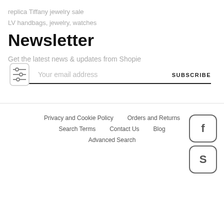replica Tiffany jewelry sale
LV handbags, jewelry, watches
Newsletter
Get the latest news & updates from Shopie
Your email address
SUBSCRIBE
Privacy and Cookie Policy
Orders and Returns
Search Terms
Contact Us
Blog
Advanced Search